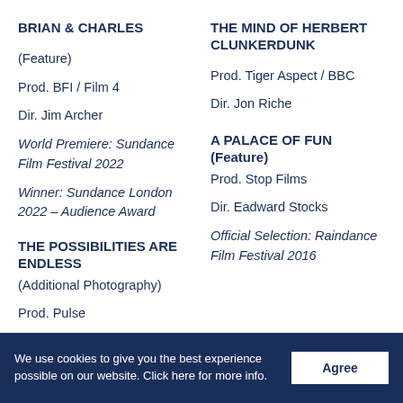BRIAN & CHARLES
(Feature)
Prod. BFI / Film 4
Dir. Jim Archer
World Premiere: Sundance Film Festival 2022
Winner: Sundance London 2022 – Audience Award
THE POSSIBILITIES ARE ENDLESS
(Additional Photography)
Prod. Pulse
Dir. D.A.R.Y.L
THE MIND OF HERBERT CLUNKERDUNK
Prod. Tiger Aspect / BBC
Dir. Jon Riche
A PALACE OF FUN
(Feature)
Prod. Stop Films
Dir. Eadward Stocks
Official Selection: Raindance Film Festival 2016
We use cookies to give you the best experience possible on our website. Click here for more info.